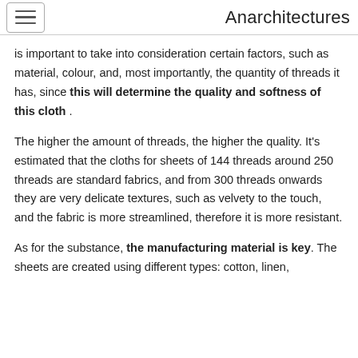Anarchitectures
is important to take into consideration certain factors, such as material, colour, and, most importantly, the quantity of threads it has, since this will determine the quality and softness of this cloth .
The higher the amount of threads, the higher the quality. It's estimated that the cloths for sheets of 144 threads around 250 threads are standard fabrics, and from 300 threads onwards they are very delicate textures, such as velvety to the touch, and the fabric is more streamlined, therefore it is more resistant.
As for the substance, the manufacturing material is key. The sheets are created using different types: cotton, linen,